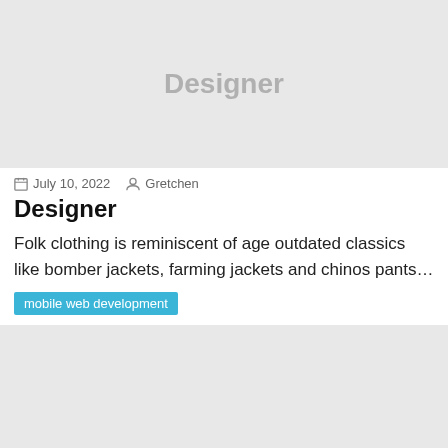[Figure (photo): Light gray placeholder image with 'Designer' text in the center]
July 10, 2022  Gretchen
Designer
Folk clothing is reminiscent of age outdated classics like bomber jackets, farming jackets and chinos pants…
mobile web development
[Figure (photo): Light gray placeholder image with 'Forecasting E' text visible at bottom]